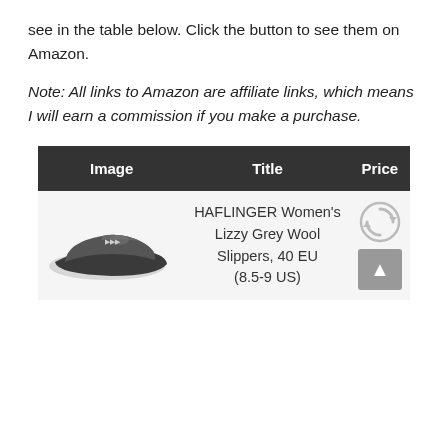see in the table below. Click the button to see them on Amazon.
Note: All links to Amazon are affiliate links, which means I will earn a commission if you make a purchase.
| Image | Title | Price |
| --- | --- | --- |
| [slipper image] | HAFLINGER Women's Lizzy Grey Wool Slippers, 40 EU (8.5-9 US) | [price loading] |